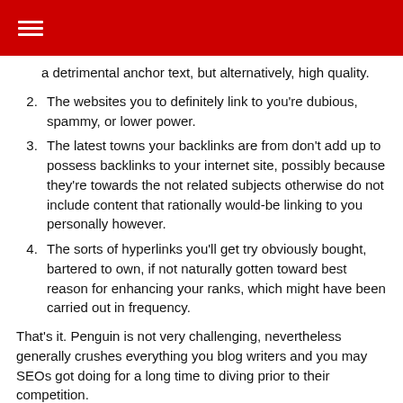a detrimental anchor text, but alternatively, high quality.
The websites you to definitely link to you’re dubious, spammy, or lower power.
The latest towns your backlinks are from don’t add up to possess backlinks to your internet site, possibly because they’re towards the not related subjects otherwise do not include content that rationally would-be linking to you personally however.
The sorts of hyperlinks you’ll get try obviously bought, bartered to own, if not naturally gotten toward best reason for enhancing your ranks, which might have been carried out in frequency.
That’s it. Penguin is not very challenging, nevertheless generally crushes everything you blog writers and you may SEOs got doing for a long time to diving prior to their competition.